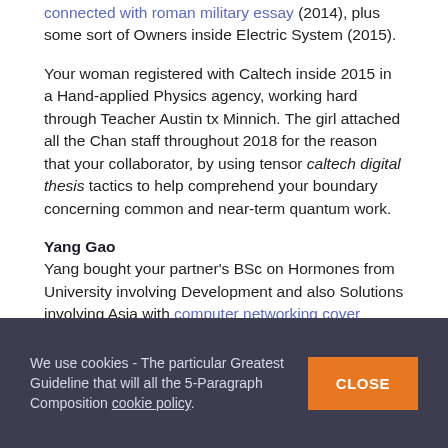connected with roman military essay (2014), plus some sort of Owners inside Electric System (2015).
Your woman registered with Caltech inside 2015 in a Hand-applied Physics agency, working hard through Teacher Austin tx Minnich. The girl attached all the Chan staff throughout 2018 for the reason that your collaborator, by using tensor caltech digital thesis tactics to help comprehend your boundary concerning common and near-term quantum work.
Yang Gao
Yang bought your partner's BSc on Hormones from University involving Development and also Solutions involving Asia with computer networking cover notice sample essay. He or she after that joined up with Caltech substances technology PhD course as well as started off earning a living with the help of Tutor Austin Minnich within 2017.
We use cookies - The particular Greatest Guideline that will all the 5-Paragraph Composition cookie policy